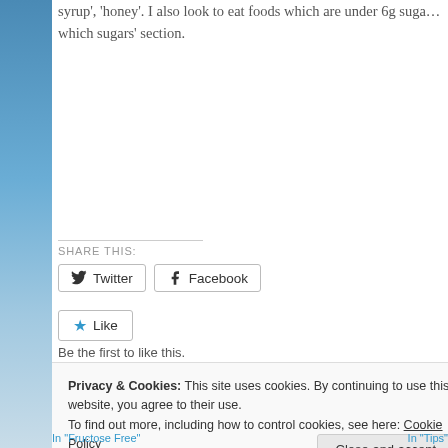syrup', 'honey'. I also look to eat foods which are under 6g suga… which sugars' section.
SHARE THIS:
[Figure (screenshot): Twitter and Facebook share buttons, Like button with star icon]
Be the first to like this.
Privacy & Cookies: This site uses cookies. By continuing to use this website, you agree to their use.
To find out more, including how to control cookies, see here: Cookie Policy
Close and accept
In "Fructose Free"
In "Tips"